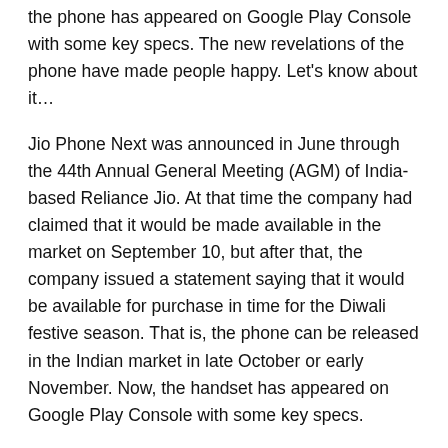the phone has appeared on Google Play Console with some key specs. The new revelations of the phone have made people happy. Let's know about it…
Jio Phone Next was announced in June through the 44th Annual General Meeting (AGM) of India-based Reliance Jio. At that time the company had claimed that it would be made available in the market on September 10, but after that, the company issued a statement saying that it would be available for purchase in time for the Diwali festive season. That is, the phone can be released in the Indian market in late October or early November. Now, the handset has appeared on Google Play Console with some key specs.
These revelations were made in the Play Console listing